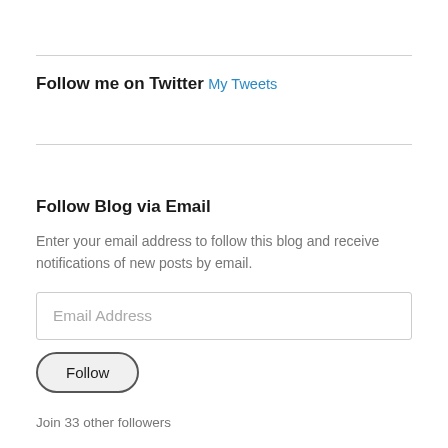Follow me on Twitter
My Tweets
Follow Blog via Email
Enter your email address to follow this blog and receive notifications of new posts by email.
Email Address
Follow
Join 33 other followers